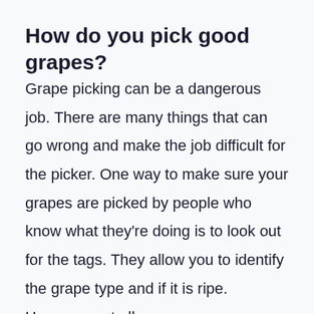How do you pick good grapes?
Grape picking can be a dangerous job. There are many things that can go wrong and make the job difficult for the picker. One way to make sure your grapes are picked by people who know what they're doing is to look out for the tags. They allow you to identify the grape type and if it is ripe. However, not all grapes come